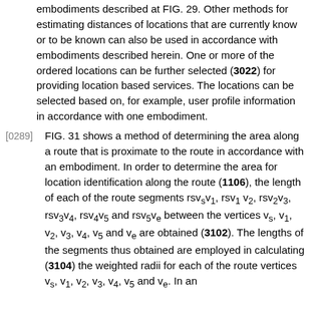embodiments described at FIG. 29. Other methods for estimating distances of locations that are currently know or to be known can also be used in accordance with embodiments described herein. One or more of the ordered locations can be further selected (3022) for providing location based services. The locations can be selected based on, for example, user profile information in accordance with one embodiment.
[0289] FIG. 31 shows a method of determining the area along a route that is proximate to the route in accordance with an embodiment. In order to determine the area for location identification along the route (1106), the length of each of the route segments rsvₛv₁, rsv₁v₂, rsv₂v₃, rsv₃v₄, rsv₄v₅ and rsv₅vₑ between the vertices vₛ, v₁, v₂, v₃, v₄, v₅ and vₑ are obtained (3102). The lengths of the segments thus obtained are employed in calculating (3104) the weighted radii for each of the route vertices vₛ, v₁, v₂, v₃, v₄, v₅ and vₑ. In an